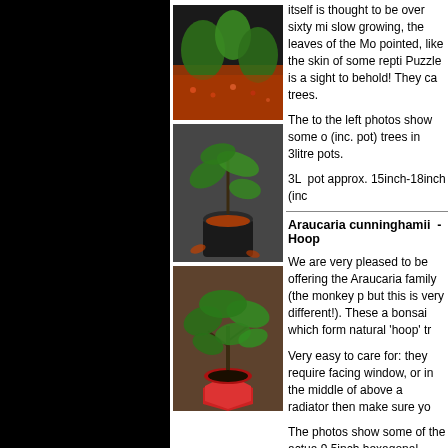[Figure (photo): Photo of spiny green plant leaves over red/orange gravel in a black pot]
itself is thought to be over sixty mi slow growing, the leaves of the Mo pointed, like the skin of some repti Puzzle is a sight to behold! They ca trees.
[Figure (photo): Photo of a young araucaria tree in a black pot with orange gravel, displayed outdoors]
The to the left photos show some o (inc. pot) trees in 3litre pots.

3L  pot approx. 15inch-18inch (inc
[Figure (photo): Photo of an Araucaria cunninghamii bonsai in a red hexagonal pot]
Araucaria cunninghamii  - Hoop
We are very pleased to be offering the Araucaria family (the monkey p but this is very different!). These a bonsai which form natural 'hoop' tr
Very easy to care for: they require facing window, or in the middle of above a radiator then make sure yo
The photos show some of the actua 9.5inch hexagonal plastic bonsai di
CLICK HERE to go to our bonsa